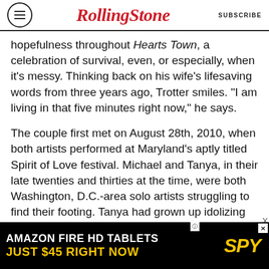RollingStone | SUBSCRIBE
hopefulness throughout Hearts Town, a celebration of survival, even, or especially, when it’s messy. Thinking back on his wife’s lifesaving words from three years ago, Trotter smiles. “I am living in that five minutes right now,” he says.
The couple first met on August 28th, 2010, when both artists performed at Maryland’s aptly titled Spirit of Love festival. Michael and Tanya, in their late twenties and thirties at the time, were both Washington, D.C.-area solo artists struggling to find their footing. Tanya had grown up idolizing acts like Jennifer Holliday and Salt-N-Pepa. After singing alongside Lauryn Hill in 1993’s Sister Act 2: Back in the Habit, where she gave a
[Figure (other): Amazon Fire HD Tablets advertisement banner. Text reads: AMAZON FIRE HD TABLETS / JUST $45 RIGHT NOW with SPY logo in yellow on black background.]